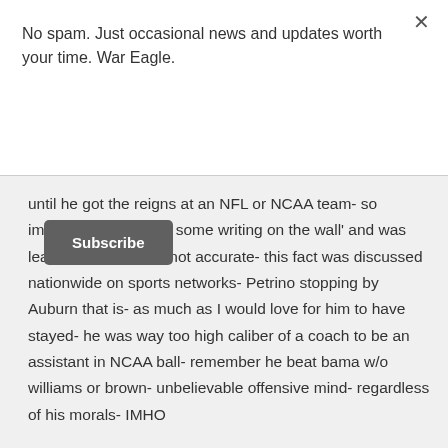No spam. Just occasional news and updates worth your time. War Eagle.
Subscribe
until he got the reigns at an NFL or NCAA team- so implying that he 'saw some writing on the wall' and was leaving b/c of that is not accurate- this fact was discussed nationwide on sports networks- Petrino stopping by Auburn that is- as much as I would love for him to have stayed- he was way too high caliber of a coach to be an assistant in NCAA ball- remember he beat bama w/o williams or brown- unbelievable offensive mind- regardless of his morals- IMHO